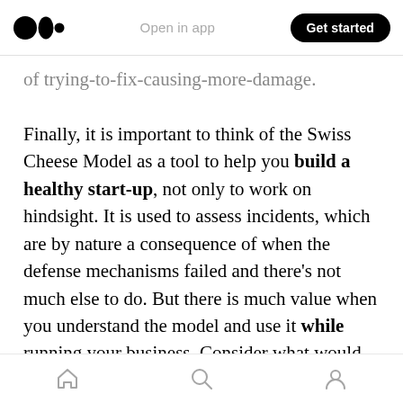Medium logo | Open in app | Get started
of trying-to-fix-causing-more-damage.

Finally, it is important to think of the Swiss Cheese Model as a tool to help you build a healthy start-up, not only to work on hindsight. It is used to assess incidents, which are by nature a consequence of when the defense mechanisms failed and there's not much else to do. But there is much value when you understand the model and use it while running your business. Consider what would be your planes, how strong they are — it is ok to have fragile ones in the beginning,
Home | Search | Profile